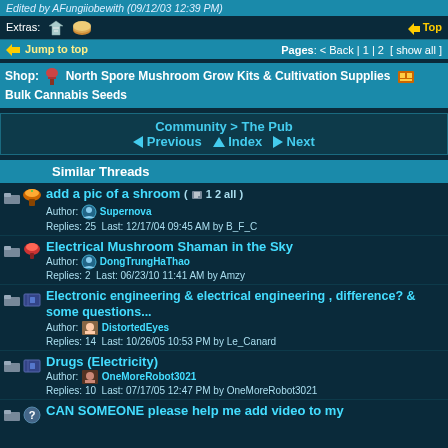Edited by AFungiiobewith (09/12/03 12:39 PM)
Extras:   Top
Jump to top   Pages: < Back | 1 | 2 [ show all ]
Shop: North Spore Mushroom Grow Kits & Cultivation Supplies Bulk Cannabis Seeds
Community > The Pub
Previous   Index   Next
Similar Threads
add a pic of a shroom ( 1 2 all )
Author: Supernova
Replies: 25  Last: 12/17/04 09:45 AM by B_F_C
Electrical Mushroom Shaman in the Sky
Author: DongTrungHaThao
Replies: 2  Last: 06/23/10 11:41 AM by Amzy
Electronic engineering & electrical engineering , difference? & some questions...
Author: DistortedEyes
Replies: 14  Last: 10/26/05 10:53 PM by Le_Canard
Drugs (Electricity)
Author: OneMoreRobot3021
Replies: 10  Last: 07/17/05 12:47 PM by OneMoreRobot3021
CAN SOMEONE please help me add video to my ...